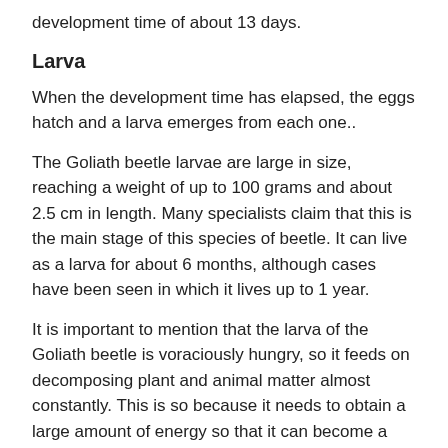development time of about 13 days.
Larva
When the development time has elapsed, the eggs hatch and a larva emerges from each one..
The Goliath beetle larvae are large in size, reaching a weight of up to 100 grams and about 2.5 cm in length. Many specialists claim that this is the main stage of this species of beetle. It can live as a larva for about 6 months, although cases have been seen in which it lives up to 1 year.
It is important to mention that the larva of the Goliath beetle is voraciously hungry, so it feeds on decomposing plant and animal matter almost constantly. This is so because it needs to obtain a large amount of energy so that it can become a pupa and later an adult..